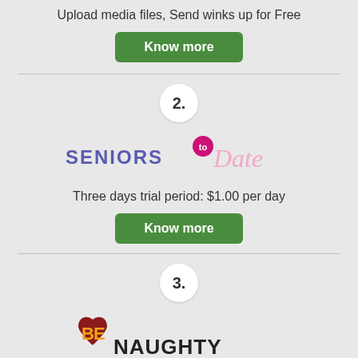Upload media files, Send winks up for Free
Know more
2.
[Figure (logo): SeniorsToDate logo with purple SENIORS text, pink 'to' bubble, and pink italic Date text]
Three days trial period: $1.00 per day
Know more
3.
[Figure (logo): BeNaughty logo with dark red heart shape containing orange/yellow BE letters and dark NAUGHTY text]
Free messages for female members
Know more